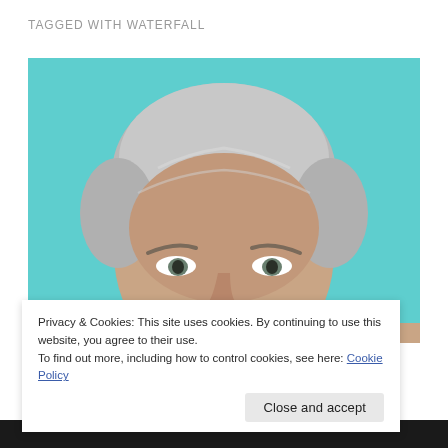TAGGED WITH WATERFALL
[Figure (photo): Close-up photo of a middle-aged man with short silver-gray hair against a teal/cyan background. Only the top half of his face (forehead, eyes, and nose) is fully visible.]
Privacy & Cookies: This site uses cookies. By continuing to use this website, you agree to their use.
To find out more, including how to control cookies, see here: Cookie Policy
Close and accept